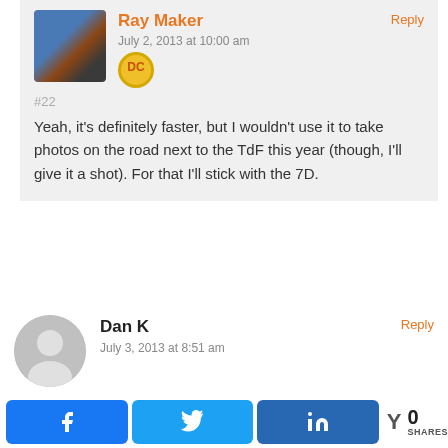Reply
Ray Maker
July 2, 2013 at 10:00 am
#22
Yeah, it's definitely faster, but I wouldn't use it to take photos on the road next to the TdF this year (though, I'll give it a shot). For that I'll stick with the 7D.
Reply
Dan K
July 3, 2013 at 8:51 am
#23
Hi, see you wearing your HRM high on the chest – why ? does it work better / feel better ? do you do the same when out running etc ?
0 SHARES